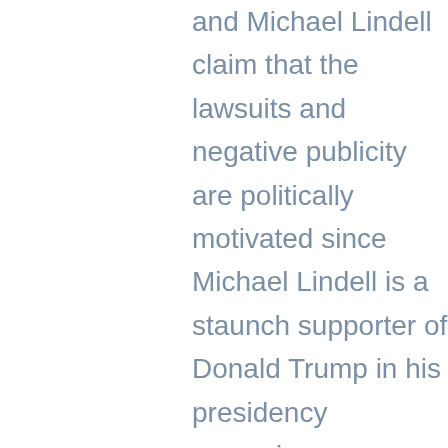and Michael Lindell claim that the lawsuits and negative publicity are politically motivated since Michael Lindell is a staunch supporter of Donald Trump in his presidency campaign. MyPillow® is not the only sleep accessory company that has made health claims that seemed too good to be true but why was MyPillow® solely targeted with the civil suit?
MyPillow® has currently revamped their marketing